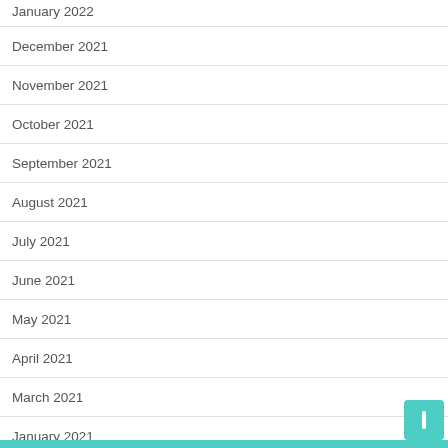January 2022
December 2021
November 2021
October 2021
September 2021
August 2021
July 2021
June 2021
May 2021
April 2021
March 2021
January 2021
August 2020
March 2020